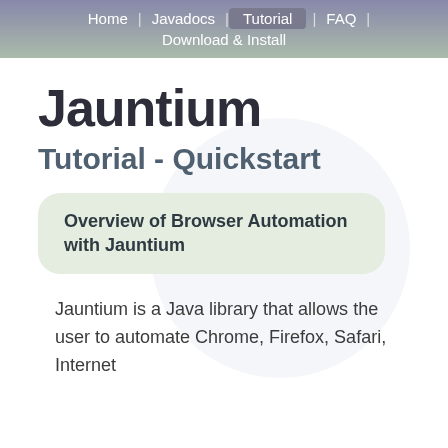Home | Javadocs | Tutorial | FAQ | Download & Install
Jauntium
Tutorial - Quickstart
Overview of Browser Automation with Jauntium
Jauntium is a Java library that allows the user to automate Chrome, Firefox, Safari, Internet